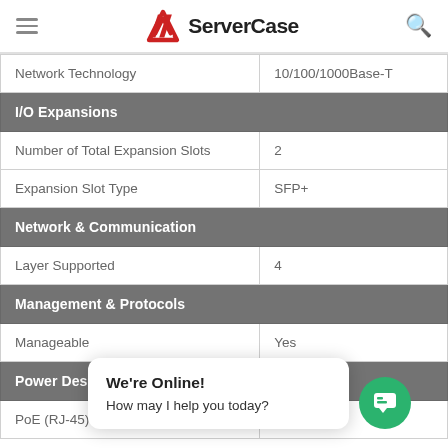ServerCase
| Network Technology | 10/100/1000Base-T |
| I/O Expansions |  |
| Number of Total Expansion Slots | 2 |
| Expansion Slot Type | SFP+ |
| Network & Communication |  |
| Layer Supported | 4 |
| Management & Protocols |  |
| Manageable | Yes |
| Power Description |  |
| PoE (RJ-45) Port | No |
We're Online! How may I help you today?